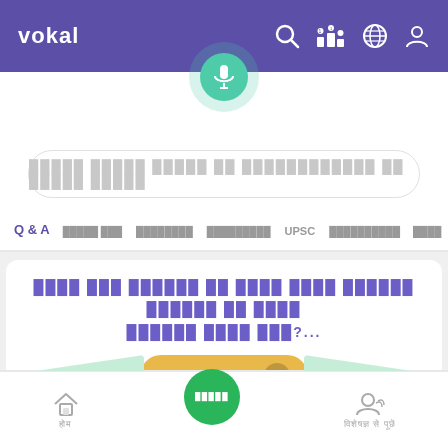vokal
[Figure (screenshot): Vokal app screenshot showing search interface with microphone button, search bar with Hindi placeholder text, navigation tabs (Q & A, UPSC, etc.), a question card in Hindi/Devanagari script with 'open in app' button, and bottom navigation bar with home, record, and profile icons.]
Q & A
UPSC
open in app
होम
विशेषज्ञ से पूछें